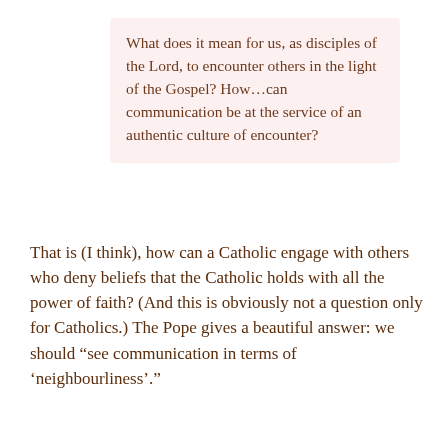What does it mean for us, as disciples of the Lord, to encounter others in the light of the Gospel? How…can communication be at the service of an authentic culture of encounter?
That is (I think), how can a Catholic engage with others who deny beliefs that the Catholic holds with all the power of faith? (And this is obviously not a question only for Catholics.) The Pope gives a beautiful answer: we should “see communication in terms of ‘neighbourliness’.”